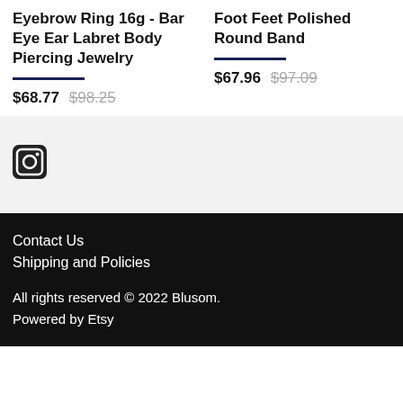Eyebrow Ring 16g - Bar Eye Ear Labret Body Piercing Jewelry
$68.77 $98.25
Foot Feet Polished Round Band
$67.96 $97.09
[Figure (logo): Instagram icon]
Contact Us
Shipping and Policies
All rights reserved © 2022 Blusom. Powered by Etsy